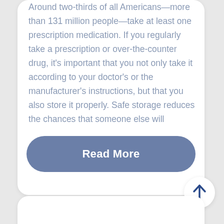Around two-thirds of all Americans—more than 131 million people—take at least one prescription medication. If you regularly take a prescription or over-the-counter drug, it's important that you not only take it according to your doctor's or the manufacturer's instructions, but that you also store it properly. Safe storage reduces the chances that someone else will
Read More
Tips for Preventing